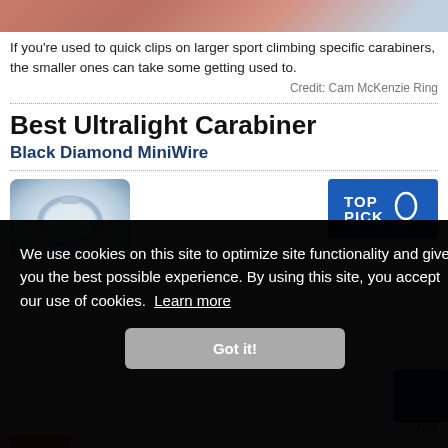[Figure (photo): Top portion of a carabiner/climbing scene photo, cropped at top of page]
If you're used to quick clips on larger sport climbing specific carabiners, the smaller ones can take some getting used to.
Credit: Cam McKenzie Ring
Best Ultralight Carabiner
Black Diamond MiniWire
[Figure (photo): Product photo of Black Diamond MiniWire carabiner (silver/metallic) with TOP PICK badge]
We use cookies on this site to optimize site functionality and give you the best possible experience. By using this site, you accept our use of cookies. Learn more
Got it!